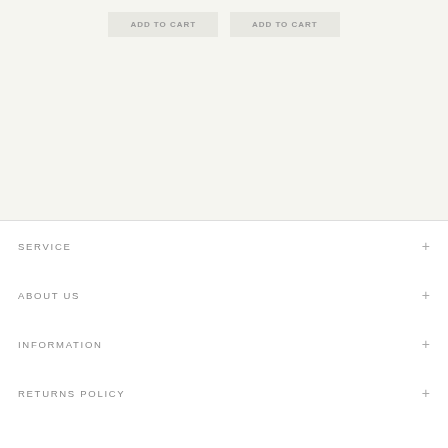[Figure (screenshot): Two 'ADD TO CART' buttons side by side on a light beige background]
SERVICE +
ABOUT US +
INFORMATION +
RETURNS POLICY +